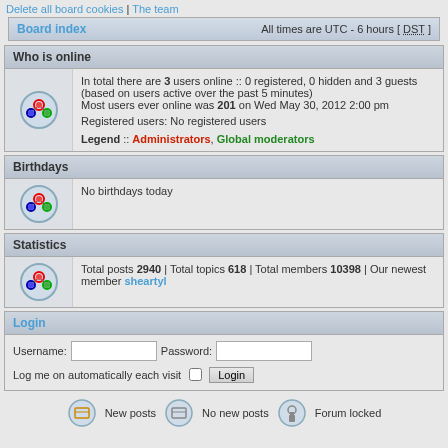Delete all board cookies | The team
Board index  All times are UTC - 6 hours [ DST ]
Who is online
In total there are 3 users online :: 0 registered, 0 hidden and 3 guests (based on users active over the past 5 minutes)
Most users ever online was 201 on Wed May 30, 2012 2:00 pm
Registered users: No registered users
Legend :: Administrators, Global moderators
Birthdays
No birthdays today
Statistics
Total posts 2940 | Total topics 618 | Total members 10398 | Our newest member sheartyl
Login
Username:  Password:  Log me on automatically each visit  Login
New posts  No new posts  Forum locked